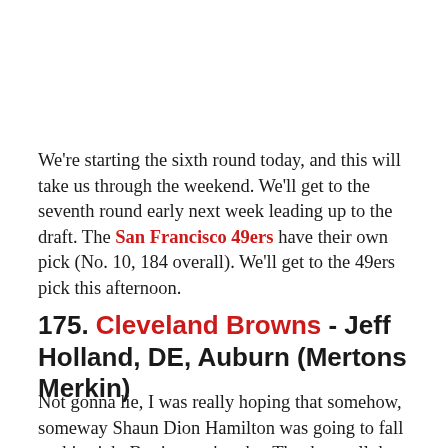We're starting the sixth round today, and this will take us through the weekend. We'll get to the seventh round early next week leading up to the draft. The San Francisco 49ers have their own pick (No. 10, 184 overall). We'll get to the 49ers pick this afternoon.
175. Cleveland Browns - Jeff Holland, DE, Auburn (Mertons Merkin)
Not gonna lie, I was really hoping that somehow, someway Shaun Dion Hamilton was going to fall to this pick. But it wasn't to be. Thanks to all the holes in the Browns roster though, for giving me ample positions to